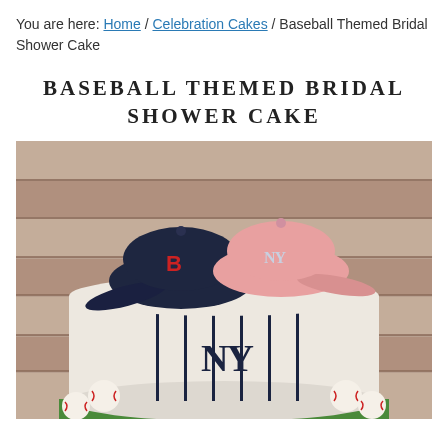You are here: Home / Celebration Cakes / Baseball Themed Bridal Shower Cake
BASEBALL THEMED BRIDAL SHOWER CAKE
[Figure (photo): A baseball themed bridal shower cake decorated with navy blue pinstripes and a NY Yankees logo on the side. Two fondant baseball caps sit on top — a dark navy cap with a red 'B' (Boston Red Sox) and a pink cap with 'NY' (Yankees). Small fondant baseballs are placed around the base of the cake, which sits on a green fondant board. The background is a rustic wood plank wall.]